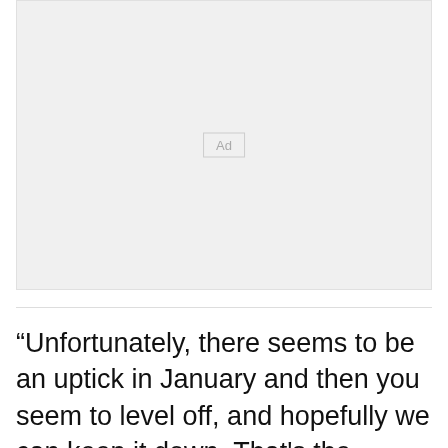[Figure (other): Advertisement placeholder box with 'Ad' label centered]
“Unfortunately, there seems to be an uptick in January and then you seem to level off, and hopefully we can keep it down. That’s the situation that we are in. St James is in a bad state now. First of all, its [murder tally] pretty